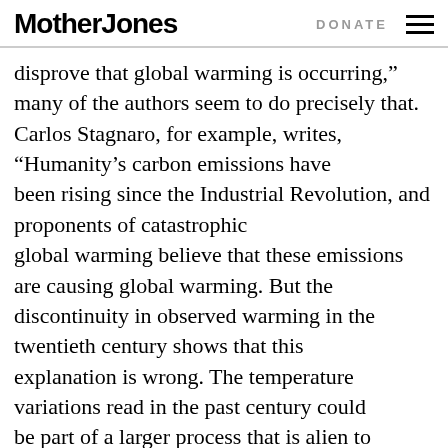Mother Jones   DONATE
disprove that global warming is occurring,” many of the authors seem to do precisely that. Carlos Stagnaro, for example, writes, “Humanity’s carbon emissions have been rising since the Industrial Revolution, and proponents of catastrophic global warming believe that these emissions are causing global warming. But the discontinuity in observed warming in the twentieth century shows that this explanation is wrong. The temperature variations read in the past century could be part of a larger process that is alien to